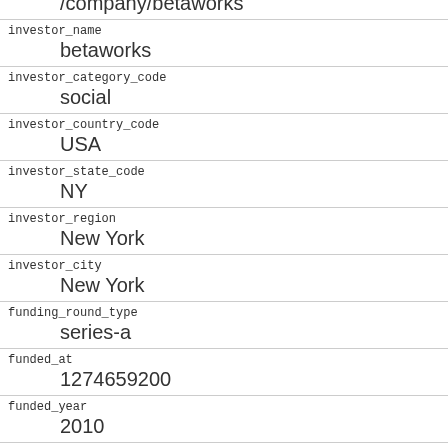| field | value |
| --- | --- |
|  | /company/betaworks |
| investor_name | betaworks |
| investor_category_code | social |
| investor_country_code | USA |
| investor_state_code | NY |
| investor_region | New York |
| investor_city | New York |
| funding_round_type | series-a |
| funded_at | 1274659200 |
| funded_year | 2010 |
| raised_amount_usd | 800000 |